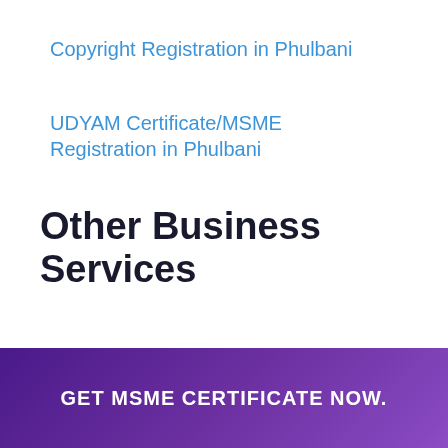Copyright Registration in Phulbani
UDYAM Certificate/MSME Registration in Phulbani
Other Business Services
[Figure (infographic): Purple rounded strip at top, WhatsApp green circle with phone icon, chat bubble saying 'Questions? Let's Chat', invoice dollar-sign icon]
GET MSME CERTIFICATE NOW.